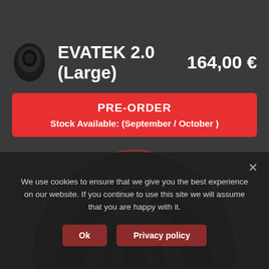[Figure (photo): Small thumbnail icon of a black helmet/backpack product]
EVATEK 2.0 (Large)
164,00 €
PRE-ORDER
Stock Available: (September / October )
[Figure (photo): Rear view of a black backpack with red circular border, shown from above]
We use cookies to ensure that we give you the best experience on our website. If you continue to use this site we will assume that you are happy with it.
Ok   Privacy policy